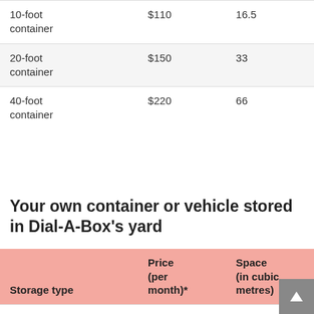| Storage type | Price (per month)* | Space (in cubic metres) |
| --- | --- | --- |
| 10-foot container | $110 | 16.5 |
| 20-foot container | $150 | 33 |
| 40-foot container | $220 | 66 |
Your own container or vehicle stored in Dial-A-Box's yard
| Storage type | Price (per month)* | Space (in cubic metres) |
| --- | --- | --- |
| 20-foot container | $70 | 33 |
| 40-foot container | $90 | 66 |